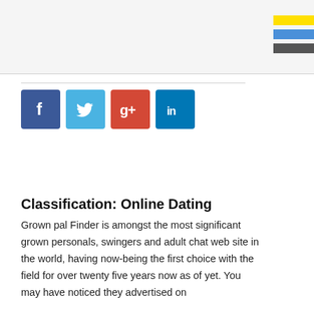[Figure (other): Top header area with light gray background and three colored horizontal bars (yellow, blue, gray) in the top-right corner]
[Figure (other): Row of four social media icon buttons: Facebook (blue), Twitter (light blue), Google+ (red), LinkedIn (blue)]
Classification: Online Dating
Grown pal Finder is amongst the most significant grown personals, swingers and adult chat web site in the world, having now-being the first choice with the field for over twenty five years now as of yet. You may have noticed they advertised on